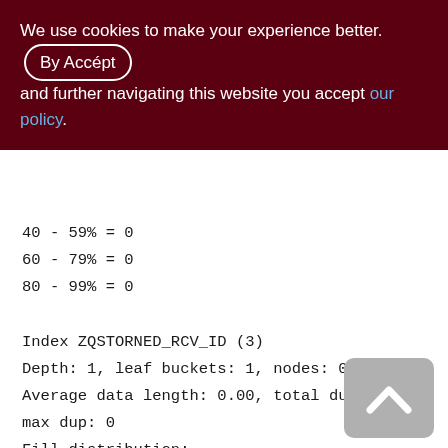We use cookies to make your experience better. By Accepting and further navigating this website you accept our policy.
40 - 59% = 0
60 - 79% = 0
80 - 99% = 0
Index ZQSTORNED_RCV_ID (3)
Depth: 1, leaf buckets: 1, nodes: 0
Average data length: 0.00, total dup: 0, max dup: 0
Fill distribution:
0 - 19% = 1
20 - 39% = 0
40 - 59% = 0
60 - 79% = 0